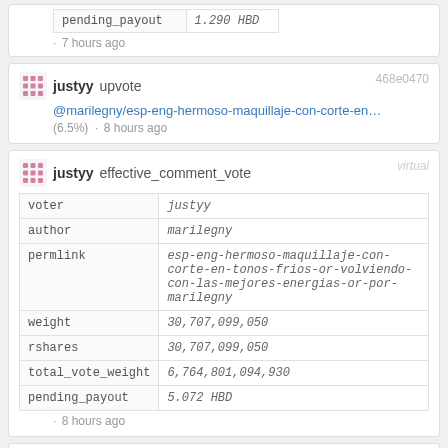| key | value |
| --- | --- |
| pending_payout | 1.290 HBD |
· 7 hours ago
justyy upvote 468e0470
@marilegny/esp-eng-hermoso-maquillaje-con-corte-en… (6.5%) · 8 hours ago
justyy effective_comment_vote virtual
| key | value |
| --- | --- |
| voter | justyy |
| author | marilegny |
| permlink | esp-eng-hermoso-maquillaje-con-corte-en-tonos-frios-or-volviendo-con-las-mejores-energias-or-por-marilegny |
| weight | 30,707,099,050 |
| rshares | 30,707,099,050 |
| total_vote_weight | 6,764,801,094,930 |
| pending_payout | 5.072 HBD |
· 8 hours ago
justyy upvote 4adfb7bb
@rammargarita/marvelys-and-the-octopus-the (5.85%) · 8 hours ago
justyy effective_comment_vote virtual